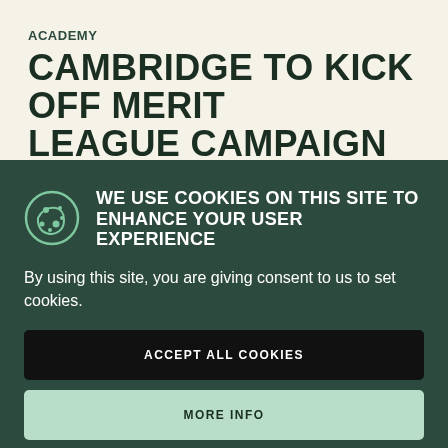ACADEMY
CAMBRIDGE TO KICK OFF MERIT LEAGUE CAMPAIGN
~ 4TH MARCH
WE USE COOKIES ON THIS SITE TO ENHANCE YOUR USER EXPERIENCE
By using this site, you are giving consent to us to set cookies.
ACCEPT ALL COOKIES
MORE INFO